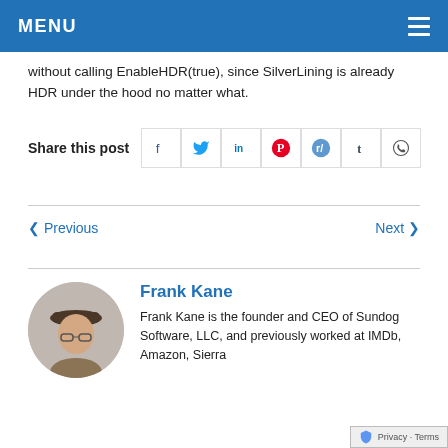MENU
without calling EnableHDR(true), since SilverLining is already HDR under the hood no matter what.
Share this post
< Previous   Next >
Frank Kane
Frank Kane is the founder and CEO of Sundog Software, LLC, and previously worked at IMDb, Amazon, Sierra